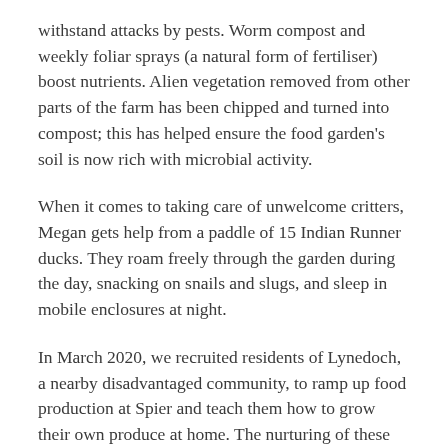withstand attacks by pests. Worm compost and weekly foliar sprays (a natural form of fertiliser) boost nutrients. Alien vegetation removed from other parts of the farm has been chipped and turned into compost; this has helped ensure the food garden's soil is now rich with microbial activity.
When it comes to taking care of unwelcome critters, Megan gets help from a paddle of 15 Indian Runner ducks. They roam freely through the garden during the day, snacking on snails and slugs, and sleep in mobile enclosures at night.
In March 2020, we recruited residents of Lynedoch, a nearby disadvantaged community, to ramp up food production at Spier and teach them how to grow their own produce at home. The nurturing of these new growers is one of our Growing for Good initiatives, which empower communities to unleash positive social and environmental change.